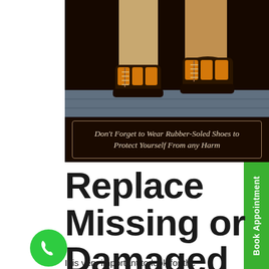[Figure (photo): Close-up photo of two feet wearing orange and black rubber-soled hiking boots on a wooden deck surface, with tan cargo pants]
Don't Forget to Wear Rubber-Soled Shoes to Protect Yourself From any Harm
Replace Missing or Damaged Shingles –
It is very important to look for the